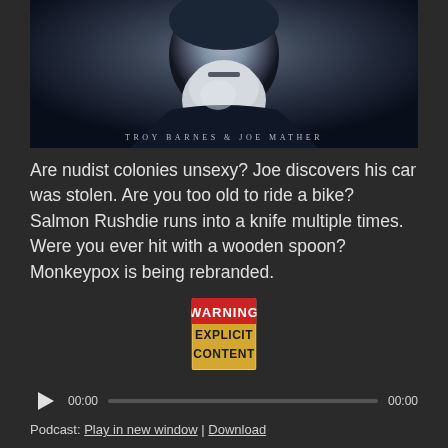[Figure (photo): Black and white photo of a bearded man (likely elderly) with text 'TROY BARNES & JOE MATHER' at the bottom]
Are nudist colonies unsexy? Joe discovers his car was stolen. Are you too old to ride a bike? Salmon Rushdie runs into a knife multiple times. Were you ever hit with a wooden spoon? Monkeypox is being rebranded.
[Figure (illustration): Warning Explicit Content badge/label]
00:00  [audio progress bar]  00:00
Podcast: Play in new window | Download